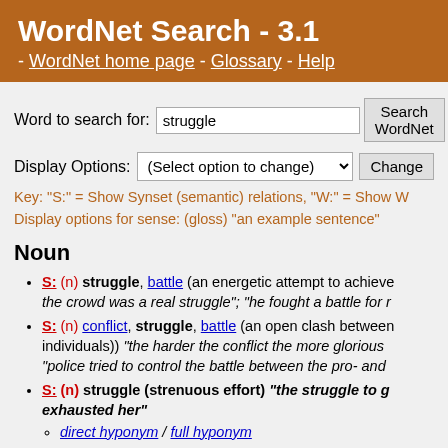WordNet Search - 3.1 - WordNet home page - Glossary - Help
Word to search for: struggle  Search WordNet
Display Options: (Select option to change)  Change
Key: "S:" = Show Synset (semantic) relations, "W:" = Show W
Display options for sense: (gloss) "an example sentence"
Noun
S: (n) struggle, battle (an energetic attempt to achieve the crowd was a real struggle"; "he fought a battle for r
S: (n) conflict, struggle, battle (an open clash between individuals)) "the harder the conflict the more glorious "police tried to control the battle between the pro- and
S: (n) struggle (strenuous effort) "the struggle to g exhausted her"
direct hyponym / full hyponym
direct hypernym / inherited hypernym / sister term
derivationally related form